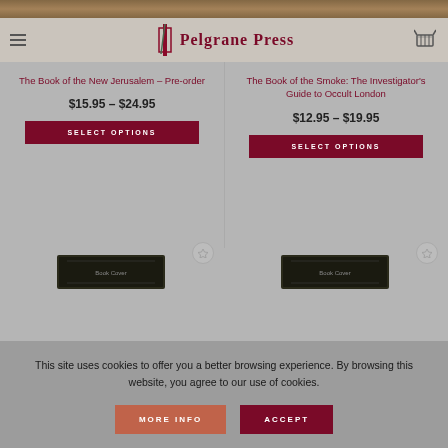Pelgrane Press
The Book of the New Jerusalem – Pre-order
$15.95 – $24.95
SELECT OPTIONS
The Book of the Smoke: The Investigator's Guide to Occult London
$12.95 – $19.95
SELECT OPTIONS
[Figure (photo): Book cover image for The Book of the New Jerusalem]
[Figure (photo): Book cover image for The Book of the Smoke]
This site uses cookies to offer you a better browsing experience. By browsing this website, you agree to our use of cookies.
MORE INFO
ACCEPT